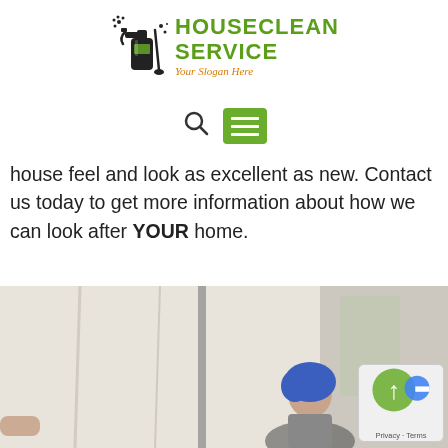[Figure (logo): HouseClean Service logo with cleaning spray bottle icon, green bold text 'HOUSECLEAN SERVICE', and orange italic slogan 'Your Slogan Here']
[Figure (other): Navigation bar with search icon (magnifying glass) and a green hamburger menu button]
house feel and look as excellent as new. Contact us today to get more information about how we can look after YOUR home.
[Figure (photo): Photo of a person with blue hair/covering cleaning or working near white curtains/shower area]